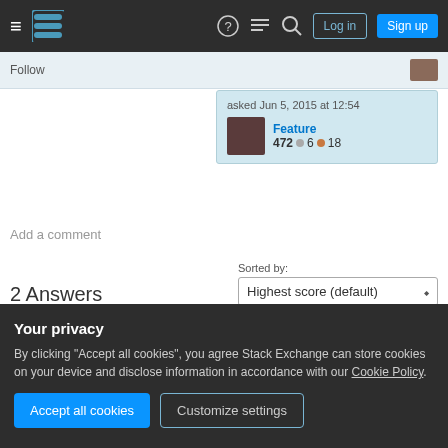Stack Exchange navigation bar with Log in and Sign up buttons
Follow
asked Jun 5, 2015 at 12:54
Feature
472  6  18
Add a comment
2 Answers
Sorted by: Highest score (default)
Have a look to Query Parameters To URL, I believe
Your privacy
By clicking "Accept all cookies", you agree Stack Exchange can store cookies on your device and disclose information in accordance with our Cookie Policy.
Accept all cookies  Customize settings
An example of a dirty URL like that could